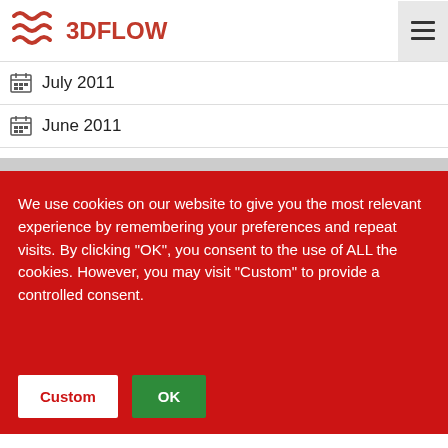3DFLOW
July 2011
June 2011
We use cookies on our website to give you the most relevant experience by remembering your preferences and repeat visits. By clicking "OK", you consent to the use of ALL the cookies. However, you may visit "Custom" to provide a controlled consent.